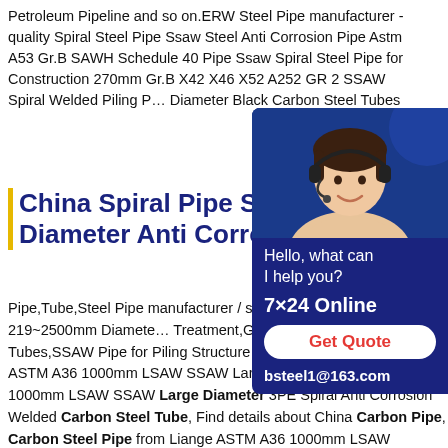Petroleum Pipeline and so on.ERW Steel Pipe manufacturer - quality Spiral Steel Pipe Ssaw Steel Anti Corrosion Pipe Astm A53 Gr.B SAWH Schedule 40 Pipe Ssaw Spiral Steel Pipe for Construction 270mm Gr.B X42 X46 X52 A252 GR 2 SSAW Spiral Welded Piling Pipe Large Diameter Black Carbon Steel Tubes
China Spiral Pipe SSAW Diameter Anti Corrosion
[Figure (photo): Chat widget with photo of a woman wearing a headset, on a dark blue background. Contains 'Hello, what can I help you?', '7×24 Online', a 'Get Quote' button, and 'bsteel1@163.com']
Pipe,Tube,Steel Pipe manufacturer / supplier Spiral Pipe SSAW 219~2500mm Diameter Treatment,Galvanized Square Tubes,SSAW Pipe for Piling Structure Pipe and so on.China Liange ASTM A36 1000mm LSAW SSAW Large China Liange ASTM A36 1000mm LSAW SSAW Large Diameter 3PE Spiral Anti Corrosion Welded Carbon Steel Tube, Find details about China Carbon Pipe, Carbon Steel Pipe from Liange ASTM A36 1000mm LSAW